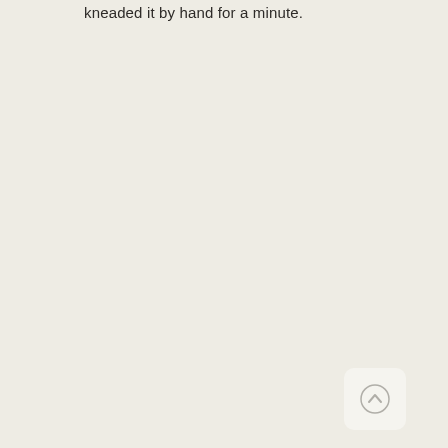kneaded it by hand for a minute.
[Figure (other): Scroll-to-top button icon with upward arrow in a rounded rectangle]